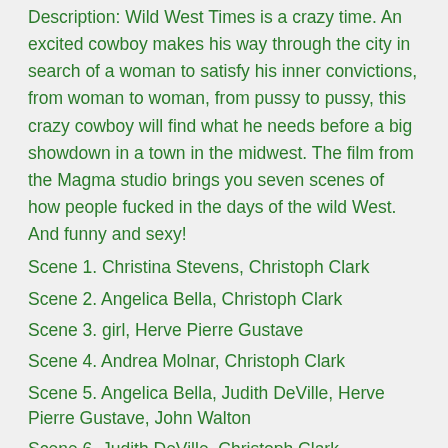Description: Wild West Times is a crazy time. An excited cowboy makes his way through the city in search of a woman to satisfy his inner convictions, from woman to woman, from pussy to pussy, this crazy cowboy will find what he needs before a big showdown in a town in the midwest. The film from the Magma studio brings you seven scenes of how people fucked in the days of the wild West. And funny and sexy!
Scene 1. Christina Stevens, Christoph Clark
Scene 2. Angelica Bella, Christoph Clark
Scene 3. girl, Herve Pierre Gustave
Scene 4. Andrea Molnar, Christoph Clark
Scene 5. Angelica Bella, Judith DeVille, Herve Pierre Gustave, John Walton
Scene 6. Judith DeVille, Christoph Clark